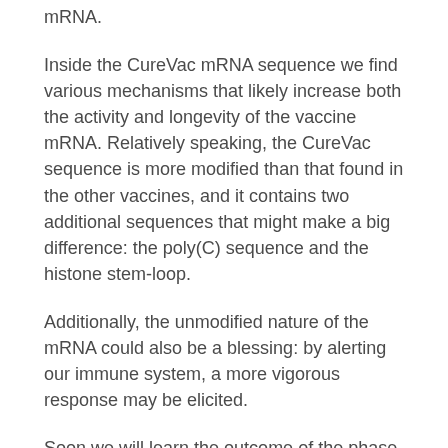mRNA.
Inside the CureVac mRNA sequence we find various mechanisms that likely increase both the activity and longevity of the vaccine mRNA. Relatively speaking, the CureVac sequence is more modified than that found in the other vaccines, and it contains two additional sequences that might make a big difference: the poly(C) sequence and the histone stem-loop.
Additionally, the unmodified nature of the mRNA could also be a blessing: by alerting our immune system, a more vigorous response may be elicited.
Soon we will learn the outcome of the phase 2/3 “HERALD” trial, which will hopefully tell us if the non-chemically modified CVnCoV mRNA vaccine is efficacious against SARS-CoV-2.